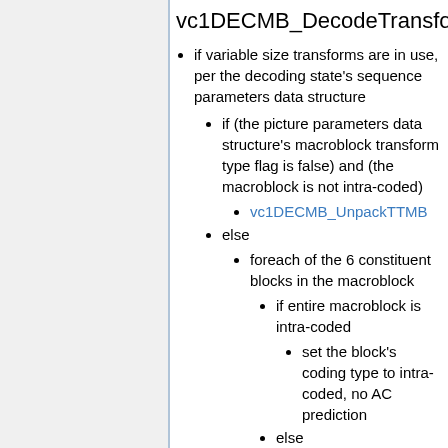vc1DECMB_DecodeTransfor
if variable size transforms are in use, per the decoding state's sequence parameters data structure
if (the picture parameters data structure's macroblock transform type flag is false) and (the macroblock is not intra-coded)
vc1DECMB_UnpackTTMB
else
foreach of the 6 constituent blocks in the macroblock
if entire macroblock is intra-coded
set the block's coding type to intra-coded, no AC prediction
else